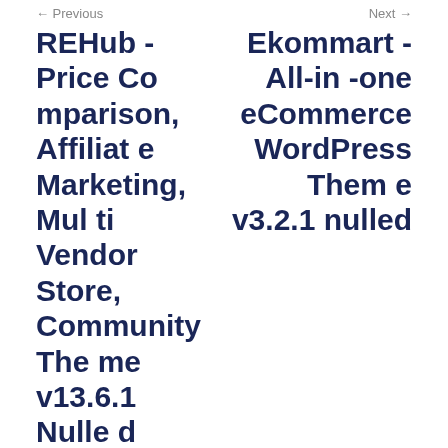← Previous
REHub - Price Comparison, Affiliate Marketing, Multi Vendor Store, Community Theme v13.6.1 Nulled
Next →
Ekommart - All-in-one eCommerce WordPress Theme v3.2.1 nulled
Search ...
Recent Posts
Structure – Construction WordPress Theme v7.0.2 nulled
Ekommart - All-in...